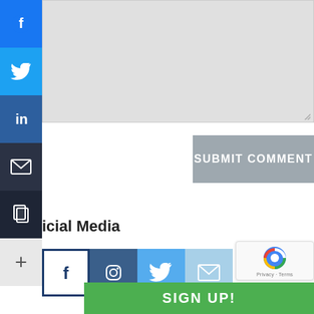[Figure (screenshot): Gray textarea/comment input box with resize handle at bottom right]
[Figure (screenshot): Submit Comment button in gray]
icial Media
[Figure (infographic): Row of social media icons: Facebook (outline), Instagram (dark blue), Twitter (blue), Email (light blue)]
[Figure (screenshot): reCAPTCHA badge with privacy and terms links]
[Figure (infographic): Green sign up bar at bottom]
[Figure (infographic): Left sidebar with Facebook (blue), Twitter (light blue), LinkedIn (dark blue), Email (dark), Copy (darker), Plus (+) social sharing buttons]